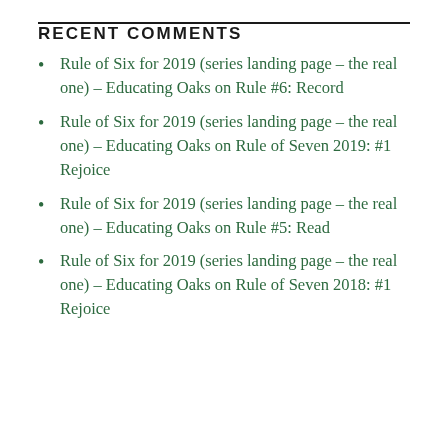RECENT COMMENTS
Rule of Six for 2019 (series landing page – the real one) – Educating Oaks on Rule #6: Record
Rule of Six for 2019 (series landing page – the real one) – Educating Oaks on Rule of Seven 2019: #1 Rejoice
Rule of Six for 2019 (series landing page – the real one) – Educating Oaks on Rule #5: Read
Rule of Six for 2019 (series landing page – the real one) – Educating Oaks on Rule of Seven 2018: #1 Rejoice